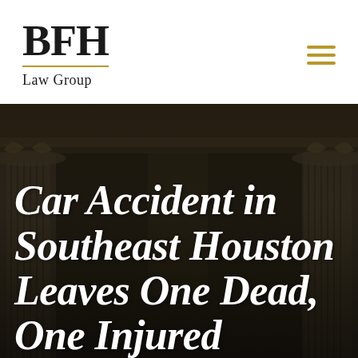[Figure (logo): BFH Law Group logo with gold underline]
[Figure (photo): Dark courthouse columns architectural background photo with large italic white headline text: Car Accident in Southeast Houston Leaves One Dead, One Injured]